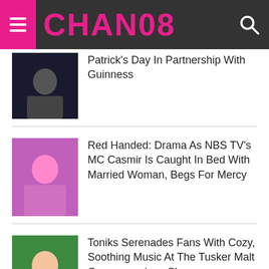CHAN08
Patrick's Day In Partnership With Guinness
Red Handed: Drama As NBS TV's MC Casmir Is Caught In Bed With Married Woman, Begs For Mercy
Toniks Serenades Fans With Cozy, Soothing Music At The Tusker Malt Conversessions Show